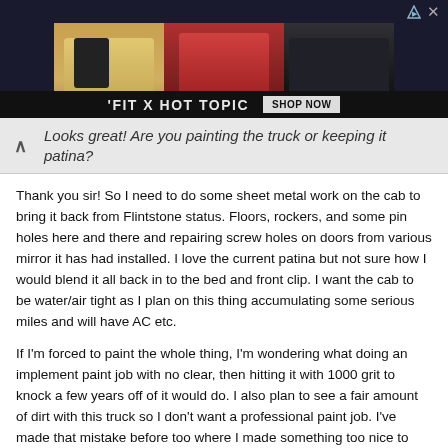[Figure (photo): Advertisement banner for 'FIT X HOT TOPIC' featuring three young people posing, with 'SHOP NOW' button]
Looks great! Are you painting the truck or keeping it patina?
Thank you sir! So I need to do some sheet metal work on the cab to bring it back from Flintstone status. Floors, rockers, and some pin holes here and there and repairing screw holes on doors from various mirror it has had installed. I love the current patina but not sure how I would blend it all back in to the bed and front clip. I want the cab to be water/air tight as I plan on this thing accumulating some serious miles and will have AC etc.

If I'm forced to paint the whole thing, I'm wondering what doing an implement paint job with no clear, then hitting it with 1000 grit to knock a few years off of it would do. I also plan to see a fair amount of dirt with this truck so I don't want a professional paint job. I've made that mistake before too where I made something too nice to wheel 🙂

pics to come of the cab progress this weekend!
Sanders